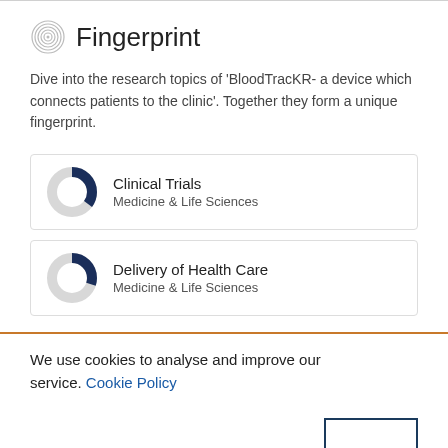Fingerprint
Dive into the research topics of 'BloodTracKR- a device which connects patients to the clinic'. Together they form a unique fingerprint.
[Figure (donut-chart): Partial donut chart showing roughly 60% fill in dark navy, label: Clinical Trials, Medicine & Life Sciences]
[Figure (donut-chart): Partial donut chart showing roughly 55% fill in dark navy, label: Delivery of Health Care, Medicine & Life Sciences]
We use cookies to analyse and improve our service. Cookie Policy